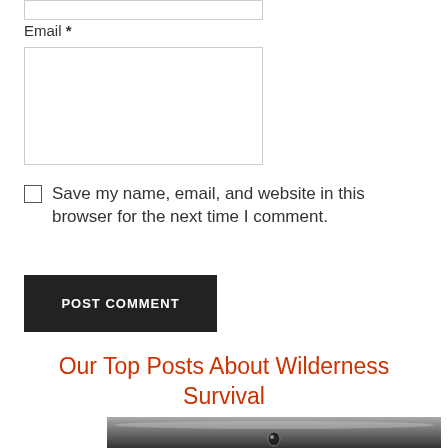Email *
[Figure (other): Empty form input box at top of page]
[Figure (other): Email text area input box]
Save my name, email, and website in this browser for the next time I comment.
POST COMMENT
Our Top Posts About Wilderness Survival
[Figure (photo): Black and white close-up photo of a water droplet]